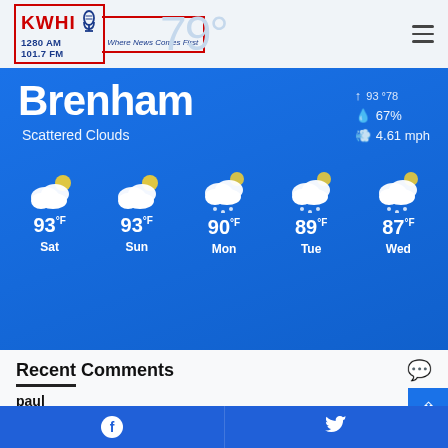KWHI 1280 AM 101.7 FM - Where News Comes First
[Figure (infographic): Weather widget showing Brenham with Scattered Clouds, 67% humidity, 4.61 mph wind, and 5-day forecast: Sat 93F, Sun 93F, Mon 90F, Tue 89F, Wed 87F]
Recent Comments
paul
Why would anyone in the city leave their gun in the car and...
Step up people
Facebook | Twitter